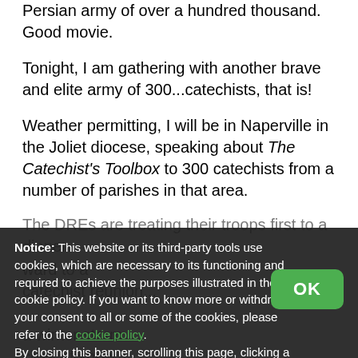Persian army of over a hundred thousand. Good movie.
Tonight, I am gathering with another brave and elite army of 300...catechists, that is!
Weather permitting, I will be in Naperville in the Joliet diocese, speaking about The Catechist's Toolbox to 300 catechists from a number of parishes in that area.
The DREs are treating their troops first to a dinner ward to a catechist reunion...
a winter storm ches of snow ng beginning this evening! I pray that we are able to pray and go to the event and then we...
Notice: This website or its third-party tools use cookies, which are necessary to its functioning and required to achieve the purposes illustrated in the cookie policy. If you want to know more or withdraw your consent to all or some of the cookies, please refer to the cookie policy. By closing this banner, scrolling this page, clicking a link or continuing to browse otherwise, you agree to the use of cookies.